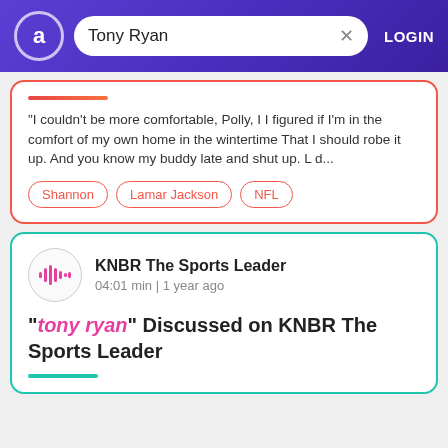Tony Ryan — Search header with LOGIN
"I couldn't be more comfortable, Polly, I I figured if I'm in the comfort of my own home in the wintertime That I should robe it up. And you know my buddy late and shut up. L d...
Shannon
Lamar Jackson
NFL
KNBR The Sports Leader
04:01 min | 1 year ago
"tony ryan" Discussed on KNBR The Sports Leader